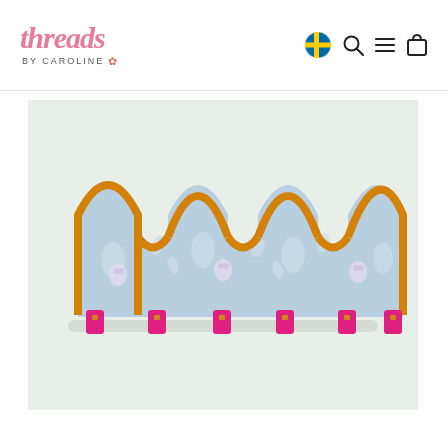threads BY CAROLINE
[Figure (photo): A decorative crown-shaped fabric item with a light blue floral/owl print fabric, orange/amber velvet-like border trim along the zigzag crown peaks, and pink tab/loop closures along the bottom edge with small gold rivets. The item is displayed flat against a white/light gray background.]